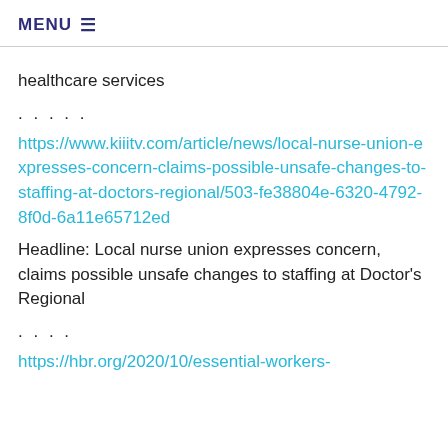MENU ≡
healthcare services
. . . . .
https://www.kiiitv.com/article/news/local-nurse-union-expresses-concern-claims-possible-unsafe-changes-to-staffing-at-doctors-regional/503-fe38804e-6320-4792-8f0d-6a11e65712ed
Headline: Local nurse union expresses concern, claims possible unsafe changes to staffing at Doctor's Regional
. . . .
https://hbr.org/2020/10/essential-workers-...